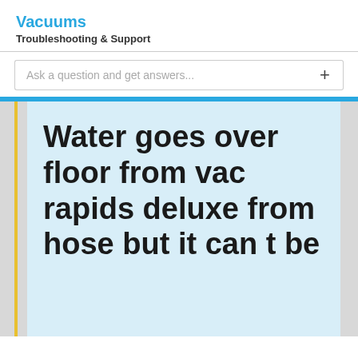Vacuums
Troubleshooting & Support
Ask a question and get answers...
Water goes over floor from vac rapids deluxe from hose but it can t be